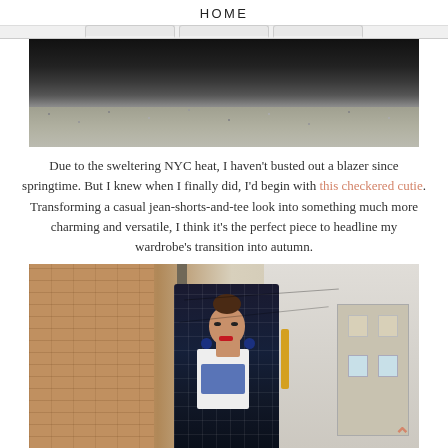HOME
[Figure (photo): Top portion of a street/outdoor photo showing a dark asphalt or tarmac surface with gravel, in grayscale]
Due to the sweltering NYC heat, I haven't busted out a blazer since springtime. But I knew when I finally did, I'd begin with this checkered cutie. Transforming a casual jean-shorts-and-tee look into something much more charming and versatile, I think it's the perfect piece to headline my wardrobe's transition into autumn.
[Figure (photo): A young woman with a bun hairstyle, red lips, and blue drop earrings wearing a checkered navy blazer, standing in front of a brick wall alley with a utility pole and a building in the background]